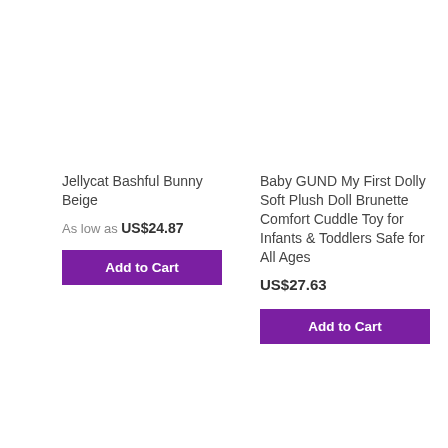Jellycat Bashful Bunny Beige
As low as US$24.87
Add to Cart
Baby GUND My First Dolly Soft Plush Doll Brunette Comfort Cuddle Toy for Infants & Toddlers Safe for All Ages
US$27.63
Add to Cart